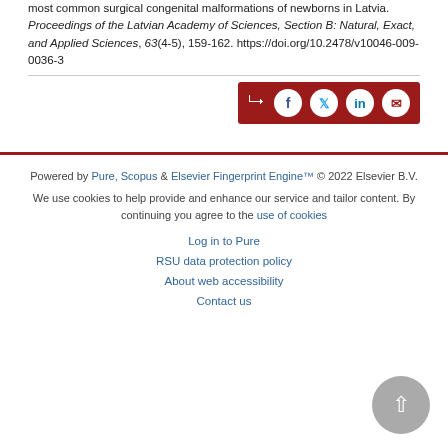most common surgical congenital malformations of newborns in Latvia. Proceedings of the Latvian Academy of Sciences, Section B: Natural, Exact, and Applied Sciences, 63(4-5), 159-162. https://doi.org/10.2478/v10046-009-0036-3
[Figure (other): Social share buttons bar with dark red background: share icon, Facebook, Twitter, LinkedIn, Email circular buttons]
Powered by Pure, Scopus & Elsevier Fingerprint Engine™ © 2022 Elsevier B.V.
We use cookies to help provide and enhance our service and tailor content. By continuing you agree to the use of cookies
Log in to Pure
RSU data protection policy
About web accessibility
Contact us